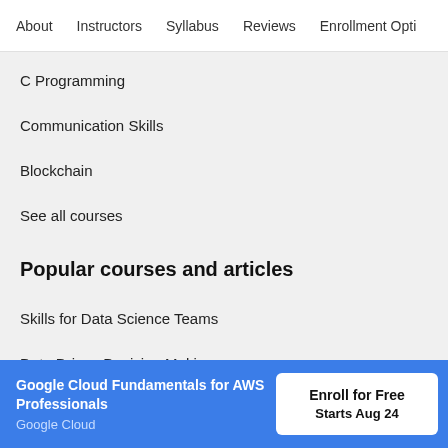About   Instructors   Syllabus   Reviews   Enrollment Opti…
C Programming
Communication Skills
Blockchain
See all courses
Popular courses and articles
Skills for Data Science Teams
Data Driven Decision Making
Google Cloud Fundamentals for AWS Professionals
Google Cloud
Enroll for Free
Starts Aug 24